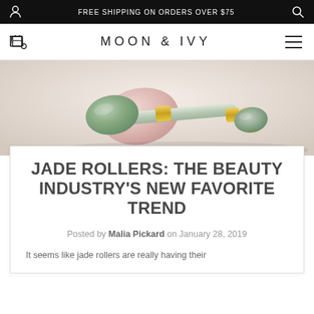FREE SHIPPING ON ORDERS OVER $75
MOON & IVY
[Figure (photo): Jade roller beauty tool with gold accents and a rose quartz roller in the background, on a light beige surface]
JADE ROLLERS: THE BEAUTY INDUSTRY'S NEW FAVORITE TREND
Posted by Malia Pickard on January 28, 2019
It seems like jade rollers are really having their